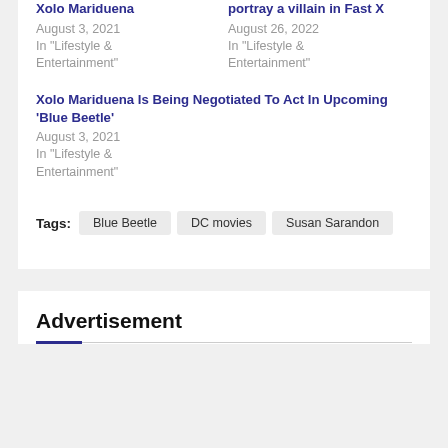Xolo Mariduena
August 3, 2021
In "Lifestyle & Entertainment"
portray a villain in Fast X
August 26, 2022
In "Lifestyle & Entertainment"
Xolo Mariduena Is Being Negotiated To Act In Upcoming ‘Blue Beetle’
August 3, 2021
In "Lifestyle & Entertainment"
Blue Beetle
DC movies
Susan Sarandon
Advertisement